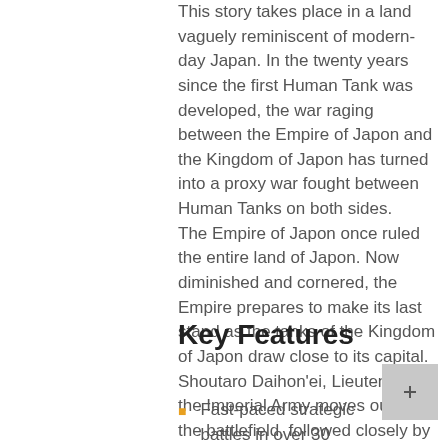This story takes place in a land vaguely reminiscent of modern-day Japan. In the twenty years since the first Human Tank was developed, the war raging between the Empire of Japon and the Kingdom of Japon has turned into a proxy war fought between Human Tanks on both sides. The Empire of Japon once ruled the entire land of Japon. Now diminished and cornered, the Empire prepares to make its last stand as the tanks of the Kingdom of Japon draw close to its capital. Shoutaro Daihon'ei, Lieutenant of the Imperial Army moves out to the battlefield, followed closely by the loyal Human Tanks in his company.
Key Features
Fast-paced strategic battles in over 30